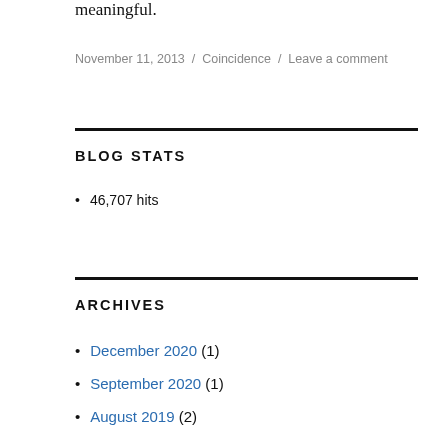meaningful.
November 11, 2013 / Coincidence / Leave a comment
BLOG STATS
46,707 hits
ARCHIVES
December 2020 (1)
September 2020 (1)
August 2019 (2)